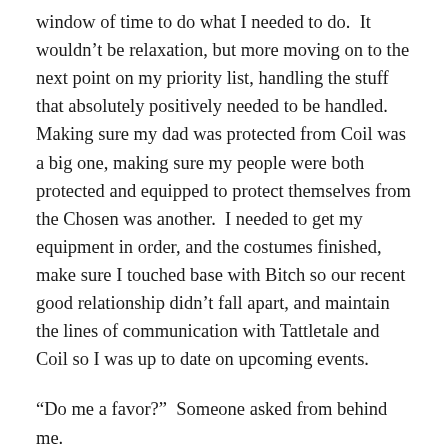window of time to do what I needed to do.  It wouldn't be relaxation, but more moving on to the next point on my priority list, handling the stuff that absolutely positively needed to be handled.  Making sure my dad was protected from Coil was a big one, making sure my people were both protected and equipped to protect themselves from the Chosen was another.  I needed to get my equipment in order, and the costumes finished, make sure I touched base with Bitch so our recent good relationship didn't fall apart, and maintain the lines of communication with Tattletale and Coil so I was up to date on upcoming events.
“Do me a favor?”  Someone asked from behind me.
I spun around, drawing my knife.  It was just Imp.  Damn it.